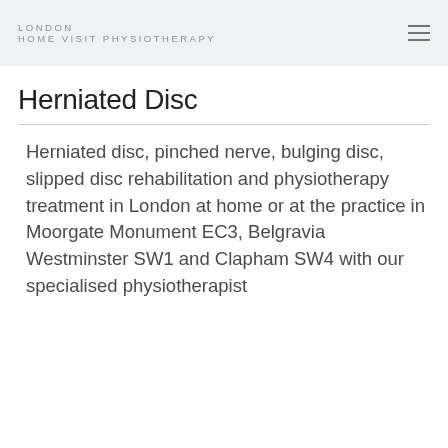LONDON HOME VISIT PHYSIOTHERAPY
Herniated Disc
Herniated disc, pinched nerve, bulging disc, slipped disc rehabilitation and physiotherapy treatment in London at home or at the practice in Moorgate Monument EC3, Belgravia Westminster SW1 and Clapham SW4 with our specialised physiotherapist